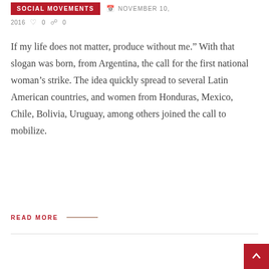SOCIAL MOVEMENTS
NOVEMBER 10, 2016  0  0
If my life does not matter, produce without me.” With that slogan was born, from Argentina, the call for the first national woman’s strike. The idea quickly spread to several Latin American countries, and women from Honduras, Mexico, Chile, Bolivia, Uruguay, among others joined the call to mobilize.
READ MORE